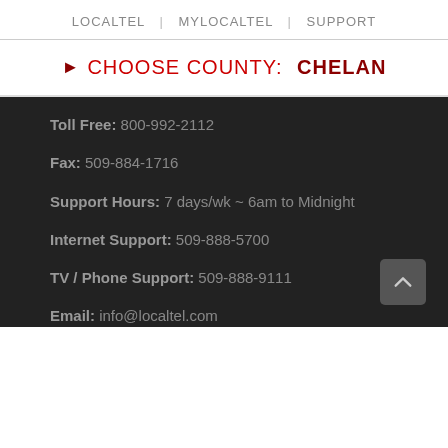LOCALTEL | MYLOCALTEL | SUPPORT
► CHOOSE COUNTY: CHELAN
Toll Free: 800-992-2112
Fax: 509-884-1716
Support Hours: 7 days/wk ~ 6am to Midnight
Internet Support: 509-888-5700
TV / Phone Support: 509-888-9111
Email: info@localtel.com